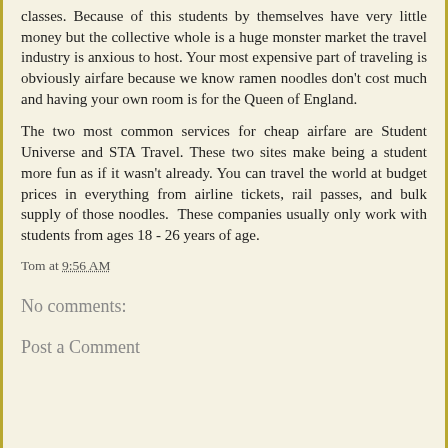classes. Because of this students by themselves have very little money but the collective whole is a huge monster market the travel industry is anxious to host. Your most expensive part of traveling is obviously airfare because we know ramen noodles don't cost much and having your own room is for the Queen of England.
The two most common services for cheap airfare are Student Universe and STA Travel. These two sites make being a student more fun as if it wasn't already. You can travel the world at budget prices in everything from airline tickets, rail passes, and bulk supply of those noodles.  These companies usually only work with students from ages 18 - 26 years of age.
Tom at 9:56 AM
No comments:
Post a Comment